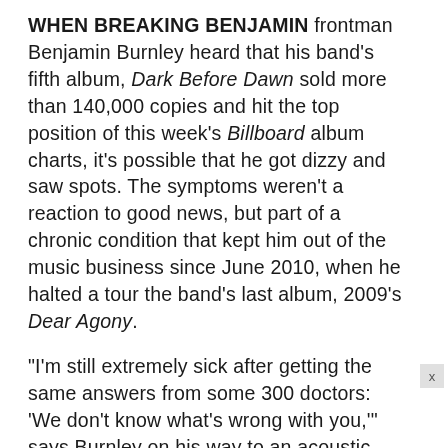WHEN BREAKING BENJAMIN frontman Benjamin Burnley heard that his band's fifth album, Dark Before Dawn sold more than 140,000 copies and hit the top position of this week's Billboard album charts, it's possible that he got dizzy and saw spots. The symptoms weren't a reaction to good news, but part of a chronic condition that kept him out of the music business since June 2010, when he halted a tour the band's last album, 2009's Dear Agony.
“I’m still extremely sick after getting the same answers from some 300 doctors: ‘We don’t know what’s wrong with you,’” says Burnley on his way to an acoustic performance and signing in Northeastern Pennsylvania. “The last time I was